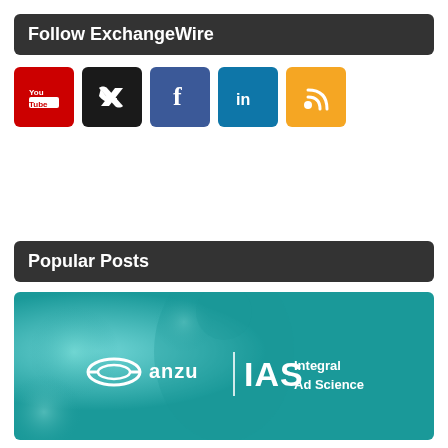Follow ExchangeWire
[Figure (infographic): Five social media icons in a row: YouTube (red), Twitter (black), Facebook (blue), LinkedIn (light blue), RSS (orange)]
Popular Posts
[Figure (photo): Teal/cyan tinted banner image showing a person in background with anzu and IAS Integral Ad Science logos overlaid in white]